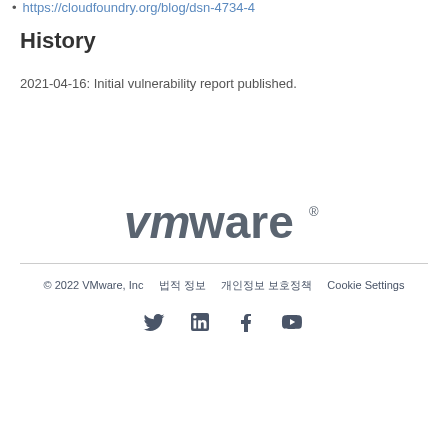https://cloudfoundry.org/blog/dsn-4734-4
History
2021-04-16: Initial vulnerability report published.
[Figure (logo): VMware logo in gray text]
© 2022 VMware, Inc    법적 정보    개인정보 보호정책    Cookie Settings